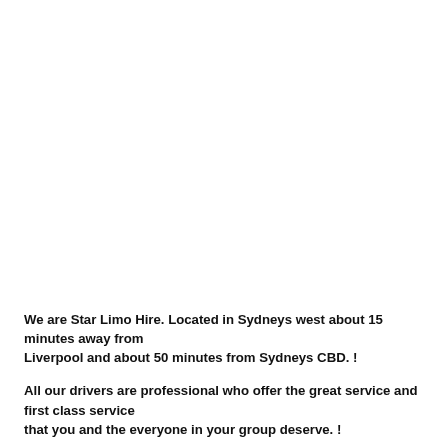We are Star Limo Hire. Located in Sydneys west about 15 minutes away from Liverpool and about 50 minutes from Sydneys CBD. !
All our drivers are professional who offer the great service and first class service that you and the everyone in your group deserve. !
Our Services: